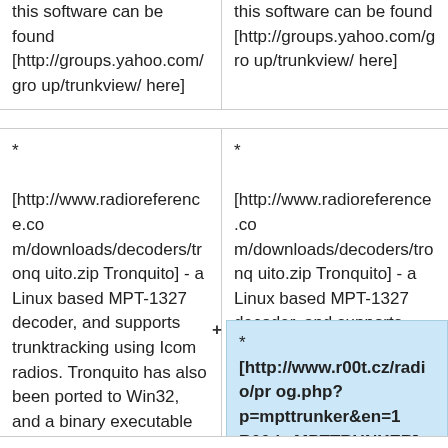this software can be found [http://groups.yahoo.com/group/trunkview/ here]
this software can be found [http://groups.yahoo.com/group/trunkview/ here]
* [http://www.radioreference.com/downloads/decoders/tronquito.zip Tronquito] - a Linux based MPT-1327 decoder, and supports trunktracking using Icom radios. Tronquito has also been ported to Win32, and a binary executable is included with the distribution.
* [http://www.radioreference.com/downloads/decoders/tronquito.zip Tronquito] - a Linux based MPT-1327 decoder, and supports trunktracking using Icom radios. Tronquito has also been ported to Win32, and a binary executable is included with the distribution.
* [http://www.r00t.cz/radio/prog.php?p=mpttrunker&en=1 R00t's MPTTRUNKER]